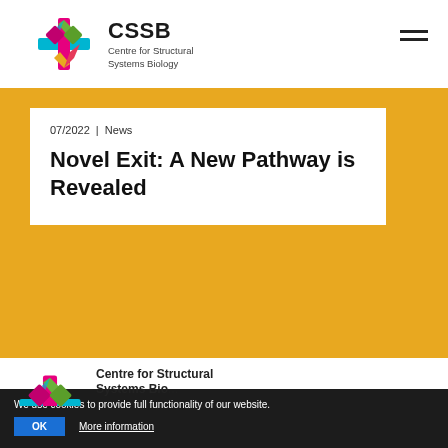CSSB Centre for Structural Systems Biology
07/2022 | News
Novel Exit: A New Pathway is Revealed
[Figure (illustration): Golden/yellow background section below the white article card]
We use cookies to provide full functionality of our website.
OK  More information
[Figure (logo): CSSB logo at bottom left, partially visible]